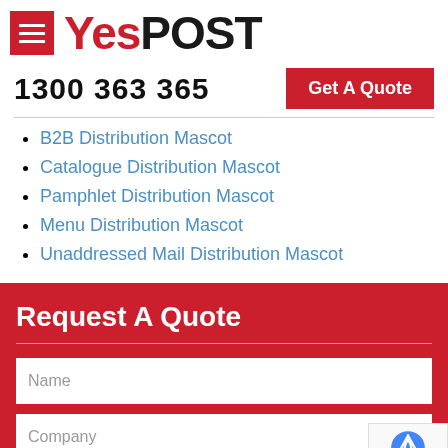YesPOST
1300 363 365
Get A Quote
B2B Distribution Mascot
Catalogue Distribution Mascot
Pamphlet Distribution Mascot
Menu Distribution Mascot
Unaddressed Mail Distribution Mascot
Request A Quote
Name
Company